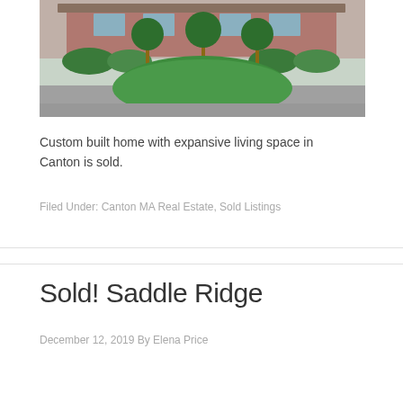[Figure (photo): Exterior photo of a custom built home with circular driveway, green lawn, and trees in Canton, MA]
Custom built home with expansive living space in Canton is sold.
Filed Under: Canton MA Real Estate, Sold Listings
Sold! Saddle Ridge
December 12, 2019 By Elena Price